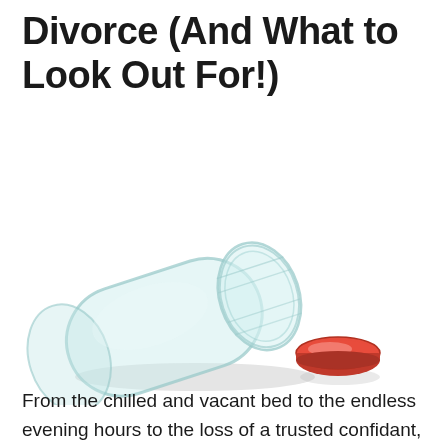Divorce (And What to Look Out For!)
[Figure (photo): A clear glass jar lying on its side with a red metal lid removed and placed separately to the right, on a white background.]
From the chilled and vacant bed to the endless evening hours to the loss of a trusted confidant,